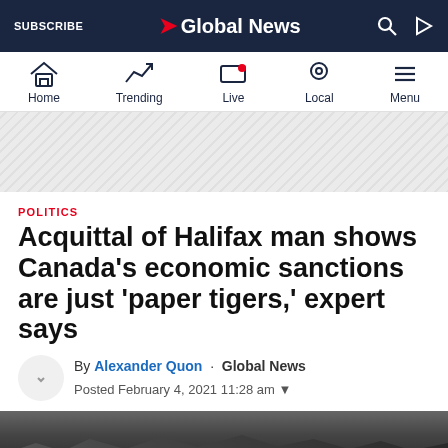SUBSCRIBE | Global News
Home  Trending  Live  Local  Menu
[Figure (other): Diagonal hatched advertisement banner placeholder]
POLITICS
Acquittal of Halifax man shows Canada's economic sanctions are just 'paper tigers,' expert says
By Alexander Quon · Global News
Posted February 4, 2021 11:28 am
[Figure (photo): Partial photo at bottom of page, dark rocky or rubble scene]